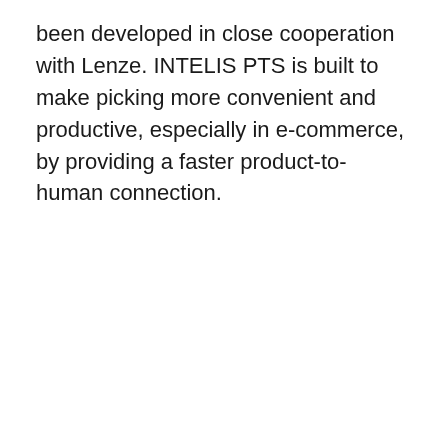been developed in close cooperation with Lenze. INTELIS PTS is built to make picking more convenient and productive, especially in e-commerce, by providing a faster product-to-human connection.